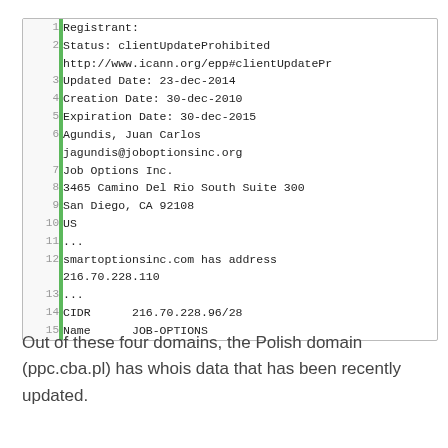| line |  | content |
| --- | --- | --- |
| 1 |  | Registrant: |
| 2 |  | Status: clientUpdateProhibited
http://www.icann.org/epp#clientUpdatePr |
| 3 |  | Updated Date: 23-dec-2014 |
| 4 |  | Creation Date: 30-dec-2010 |
| 5 |  | Expiration Date: 30-dec-2015 |
| 6 |  | Agundis, Juan Carlos
jagundis@joboptionsinc.org |
| 7 |  | Job Options Inc. |
| 8 |  | 3465 Camino Del Rio South Suite 300 |
| 9 |  | San Diego, CA 92108 |
| 10 |  | US |
| 11 |  | ... |
| 12 |  | smartoptionsinc.com has address
216.70.228.110 |
| 13 |  | ... |
| 14 |  | CIDR      216.70.228.96/28 |
| 15 |  | Name      JOB-OPTIONS |
Out of these four domains, the Polish domain (ppc.cba.pl) has whois data that has been recently updated.